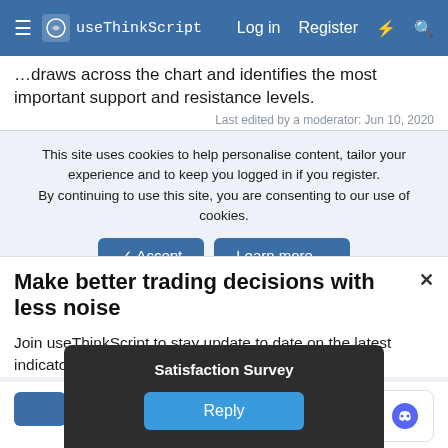useThinkScript — Log in | Register
…draws across the chart and identifies the most important support and resistance levels.
Last edited by a moderator: Jun 10, 2020
This site uses cookies to help personalise content, tailor your experience and to keep you logged in if you register. By continuing to use this site, you are consenting to our use of cookies.
✓ Accept | Learn more…
Make better trading decisions with less noise
Join useThinkScript to stay update to date on the latest indicators, trade strategies, and tips for thinkorswim.
Satisfaction Survey
Reply